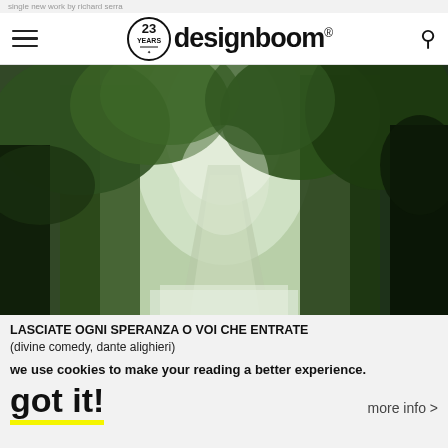single new work by richard serra
[Figure (screenshot): designboom website navigation bar with hamburger menu icon, 23 years logo circle, designboom® wordmark, and search icon]
[Figure (photo): Forest scene with tall green trees, light filtering through canopy, misty path or road visible in background, and a low white structure visible at bottom]
LASCIATE OGNI SPERANZA O VOI CHE ENTRATE
(divine comedy, dante alighieri)
we use cookies to make your reading a better experience.
got it!
more info >